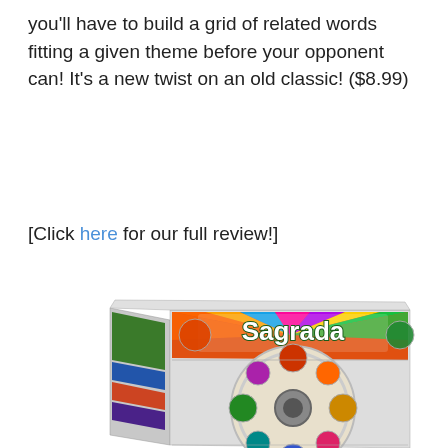you'll have to build a grid of related words fitting a given theme before your opponent can! It's a new twist on an old classic! ($8.99)
[Click here for our full review!]
[Figure (photo): A photo of the Sagrada board game box, showing the box at an angle. The box features colorful stained-glass window artwork, including the game title 'Sagrada' in ornate lettering and a large circular rose window design in the center.]